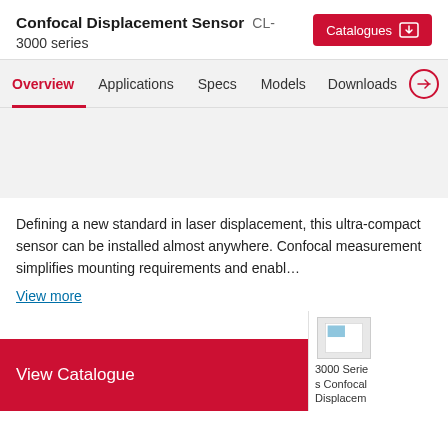Confocal Displacement Sensor CL-3000 series
Overview   Applications   Specs   Models   Downloads
Defining a new standard in laser displacement, this ultra-compact sensor can be installed almost anywhere. Confocal measurement simplifies mounting requirements and enabl...
View more
[Figure (screenshot): Thumbnail image of 3000 Series Confocal Displacement catalogue cover]
View Catalogue
3000 Series Confocal Displacem